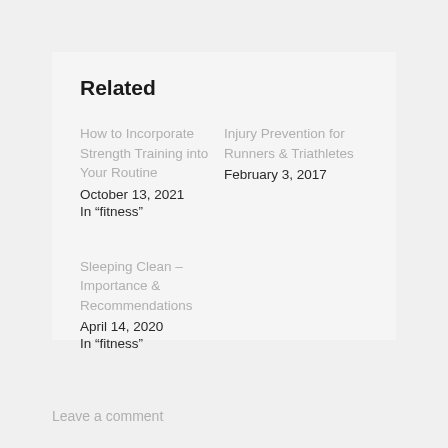Related
How to Incorporate Strength Training into Your Routine
October 13, 2021
In “fitness”
Injury Prevention for Runners & Triathletes
February 3, 2017
Sleeping Clean – Importance & Recommendations
April 14, 2020
In “fitness”
Leave a comment